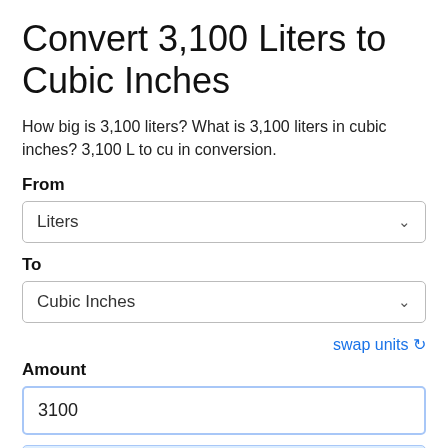Convert 3,100 Liters to Cubic Inches
How big is 3,100 liters? What is 3,100 liters in cubic inches? 3,100 L to cu in conversion.
From
Liters
To
Cubic Inches
swap units ↺
Amount
3100